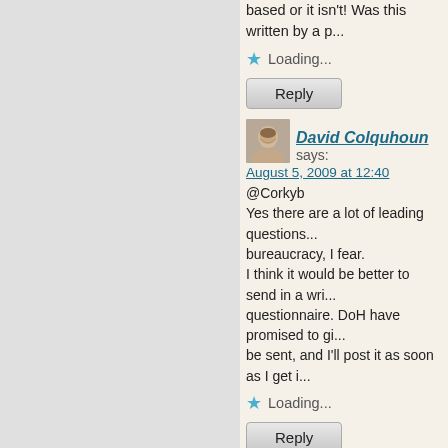based or it isn't! Was this written by a p...
Loading...
Reply
David Colquhoun says:
August 5, 2009 at 12:40
@Corkyb
Yes there are a lot of leading questions... bureaucracy, I fear.
I think it would be better to send in a wri... questionnaire. DoH have promised to gi... be sent, and I'll post it as soon as I get i...
Loading...
Reply
Claire says:
August 5, 2009 at 16:22
just passing on a recent ref from SBM , "sham" acupuncture do not significantly... traditional theories for selecting points a... empirical rationale, but on ancient cosm... significantly resemble those that underli... and bloodletting in the Middle-Ages. In a... amongst the scholarly medical traditions...